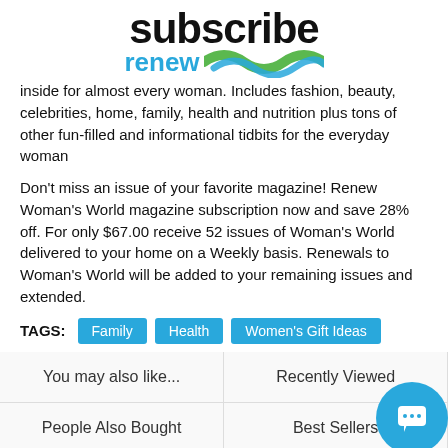subscribe renew
inside for almost every woman. Includes fashion, beauty, celebrities, home, family, health and nutrition plus tons of other fun-filled and informational tidbits for the everyday woman
Don't miss an issue of your favorite magazine! Renew Woman's World magazine subscription now and save 28% off. For only $67.00 receive 52 issues of Woman's World delivered to your home on a Weekly basis. Renewals to Woman's World will be added to your remaining issues and extended.
TAGS: Family  Health  Women's Gift Ideas
You may also like...
Recently Viewed
People Also Bought
Best Sellers